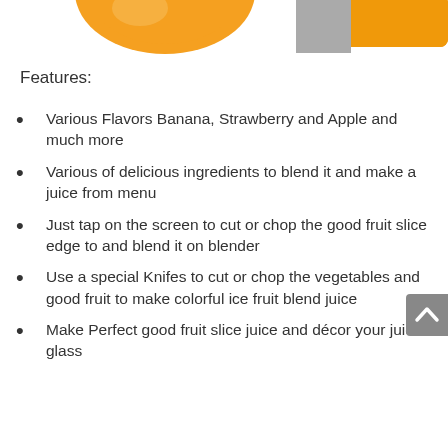[Figure (illustration): Partial view of fruit illustrations (orange/peach colored fruit on left) and an orange blender/container on the right, cropped at the top of the page.]
Features:
Various Flavors Banana, Strawberry and Apple and much more
Various of delicious ingredients to blend it and make a juice from menu
Just tap on the screen to cut or chop the good fruit slice edge to and blend it on blender
Use a special Knifes to cut or chop the vegetables and good fruit to make colorful ice fruit blend juice
Make Perfect good fruit slice juice and décor your juice glass